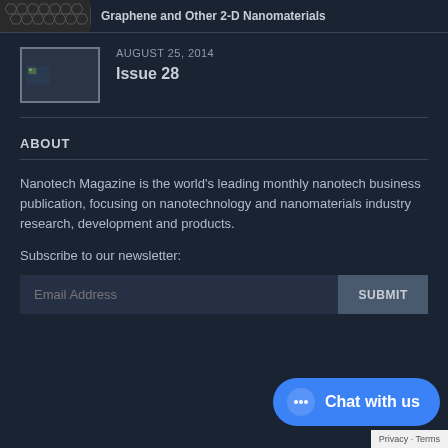[Figure (illustration): Hexagonal lattice pattern thumbnail (graphene/nanomaterial image)]
Graphene and Other 2-D Nanomaterials
[Figure (illustration): Small document thumbnail icon]
AUGUST 25, 2014
Issue 28
ABOUT
Nanotech Magazine is the world's leading monthly nanotech business publication, focusing on nanotechnology and nanomaterials industry research, development and products.
Subscribe to our newsletter: